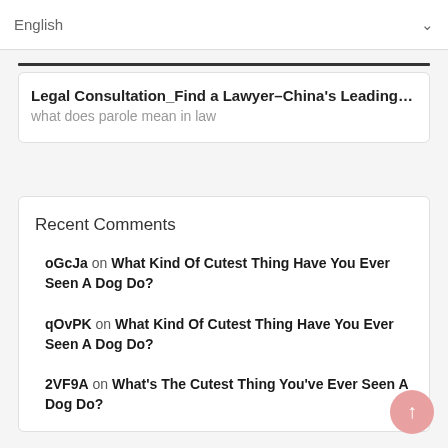English
Legal Consultation_Find a Lawyer-China's Leading Legal Consu
what does parole mean in law
Recent Comments
oGcJa on What Kind Of Cutest Thing Have You Ever Seen A Dog Do?
qOvPK on What Kind Of Cutest Thing Have You Ever Seen A Dog Do?
2VF9A on What's The Cutest Thing You've Ever Seen A Dog Do?